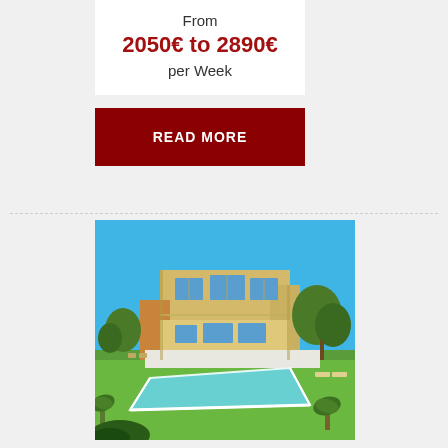From
2050€ to 2890€
per Week
READ MORE
[Figure (photo): A modern two-storey villa with large windows and balconies, photographed from the garden showing a large rectangular swimming pool in the foreground surrounded by green lawn, with mature olive trees and palm plants on the sides under a clear blue sky.]